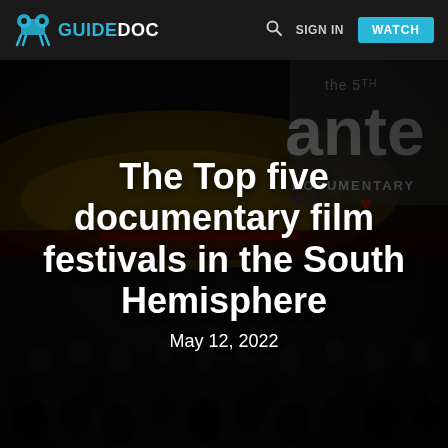GUIDEDOC — SIGN IN — WATCH
[Figure (photo): Dark cinema auditorium with audience silhouettes visible, a stage with red carpet and partial text banner reading 'the 5TH ante DOCUMENTARY' visible in upper right. Overlay text shows article title and date.]
The Top five documentary film festivals in the South Hemisphere
May 12, 2022